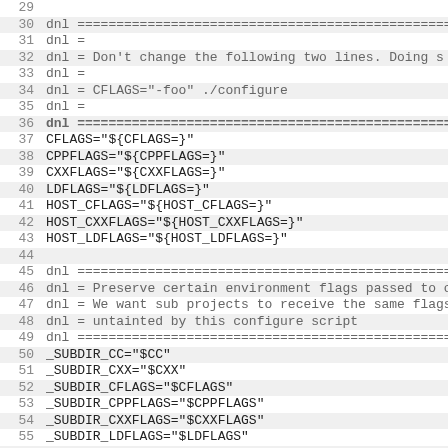Source code listing lines 29-60 of a configure script
| line | code |
| --- | --- |
| 29 |  |
| 30 | dnl ================================================ |
| 31 | dnl = |
| 32 | dnl = Don't change the following two lines.  Doing s |
| 33 | dnl = |
| 34 | dnl = CFLAGS="-foo"  ./configure |
| 35 | dnl = |
| 36 | dnl ================================================ |
| 37 | CFLAGS="${CFLAGS=}" |
| 38 | CPPFLAGS="${CPPFLAGS=}" |
| 39 | CXXFLAGS="${CXXFLAGS=}" |
| 40 | LDFLAGS="${LDFLAGS=}" |
| 41 | HOST_CFLAGS="${HOST_CFLAGS=}" |
| 42 | HOST_CXXFLAGS="${HOST_CXXFLAGS=}" |
| 43 | HOST_LDFLAGS="${HOST_LDFLAGS=}" |
| 44 |  |
| 45 | dnl ================================================ |
| 46 | dnl = Preserve certain environment flags passed to c |
| 47 | dnl = We want sub projects to receive the same flags |
| 48 | dnl = untainted by this configure script |
| 49 | dnl ================================================ |
| 50 | _SUBDIR_CC="$CC" |
| 51 | _SUBDIR_CXX="$CXX" |
| 52 | _SUBDIR_CFLAGS="$CFLAGS" |
| 53 | _SUBDIR_CPPFLAGS="$CPPFLAGS" |
| 54 | _SUBDIR_CXXFLAGS="$CXXFLAGS" |
| 55 | _SUBDIR_LDFLAGS="$LDFLAGS" |
| 56 | _SUBDIR_HOST_CC="$HOST_CC" |
| 57 | _SUBDIR_HOST_CFLAGS="$HOST_CFLAGS" |
| 58 | _SUBDIR_HOST_CXXFLAGS="$HOST_CXXFLAGS" |
| 59 | _SUBDIR_HOST_LDFLAGS="$HOST_LDFLAGS" |
| 60 | _SUBDIR_CONFIG_ARGS="$ac_configure_args" |